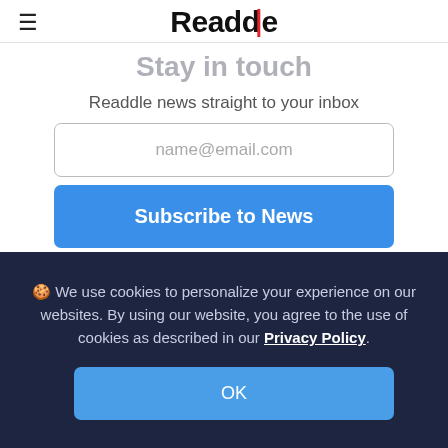Readdle
Stay in touch
Readdle news straight to your inbox
name@email.com
Subscribe to News
By clicking on "Subscribe to News" I agree to the Privacy Policy.
🍪 We use cookies to personalize your experience on our websites. By using our website, you agree to the use of cookies as described in our Privacy Policy.
OK